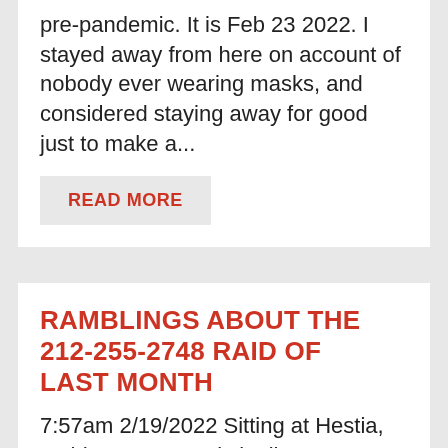pre-pandemic. It is Feb 23 2022. I stayed away from here on account of nobody ever wearing masks, and considered staying away for good just to make a...
READ MORE
RAMBLINGS ABOUT THE 212-255-2748 RAID OF LAST MONTH
7:57am 2/19/2022 Sitting at Hestia, Maiden Lane... or is it Liberty Street?